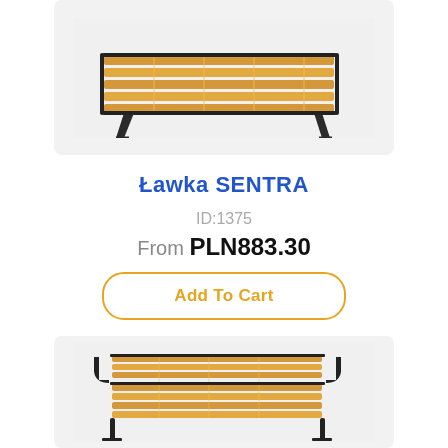[Figure (photo): Park bench with wooden slats and dark metal legs, viewed from a slight angle, top portion cropped]
Ławka SENTRA
ID:1375
From PLN883.30
Add To Cart
[Figure (photo): Park bench with wooden slats and dark metal frame with armrests, viewed from a slight angle, bottom portion shown]